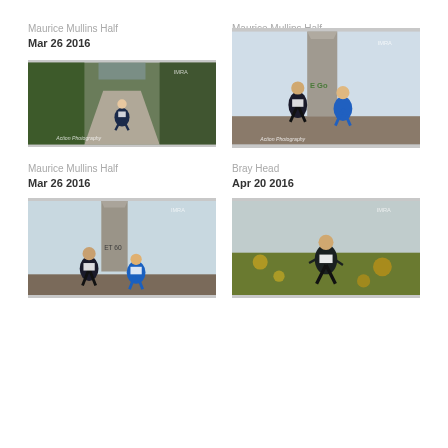Maurice Mullins Half
Mar 26 2016
Maurice Mullins Half
Mar 26 2016
[Figure (photo): Runner on a gravel forest road during Maurice Mullins Half race, with IMRA watermark and Action Photography watermark]
[Figure (photo): Two runners at a stone monument/obelisk summit during Maurice Mullins Half race, with IMRA watermark and Action Photography watermark]
Maurice Mullins Half
Mar 26 2016
Bray Head
Apr 20 2016
[Figure (photo): Two runners at a stone monument summit during Maurice Mullins Half race, with IMRA watermark]
[Figure (photo): Runner in black shirt on trail through gorse/scrubland during Bray Head race, with IMRA watermark]